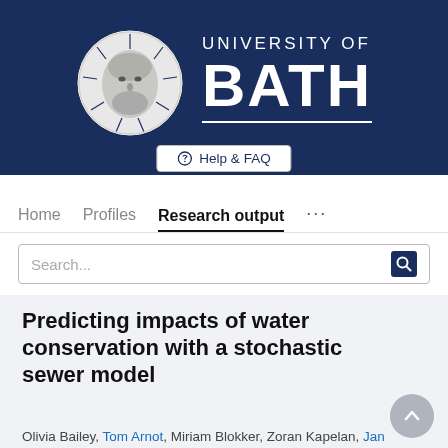[Figure (logo): University of Bath logo: circular emblem with face motif and text 'UNIVERSITY OF BATH' on dark navy background]
Help & FAQ
Home   Profiles   Research output   ...
Search...
Predicting impacts of water conservation with a stochastic sewer model
Olivia Bailey, Tom Arnot, Miriam Blokker, Zoran Kapelan, Jan